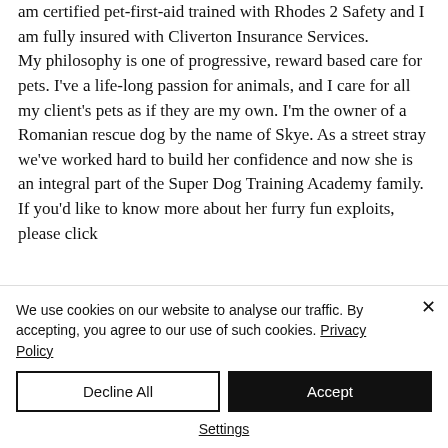am certified pet-first-aid trained with Rhodes 2 Safety and I am fully insured with Cliverton Insurance Services.
My philosophy is one of progressive, reward based care for pets. I've a life-long passion for animals, and I care for all my client's pets as if they are my own. I'm the owner of a Romanian rescue dog by the name of Skye. As a street stray we've worked hard to build her confidence and now she is an integral part of the Super Dog Training Academy family. If you'd like to know more about her furry fun exploits, please click
We use cookies on our website to analyse our traffic. By accepting, you agree to our use of such cookies. Privacy Policy
Decline All
Accept
Settings